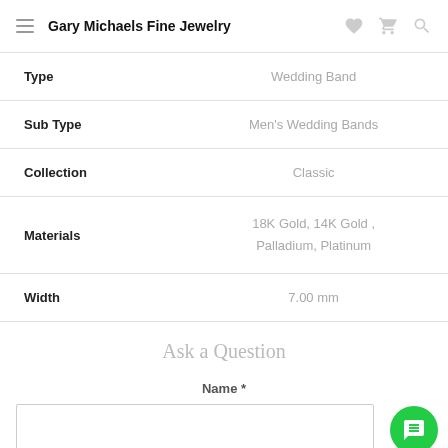Gary Michaels Fine Jewelry
| Attribute | Value |
| --- | --- |
| Type | Wedding Band |
| Sub Type | Men's Wedding Bands |
| Collection | Classic |
| Materials | 18K Gold, 14K Gold , Palladium, Platinum |
| Width | 7.00 mm |
Ask a Question
Name *